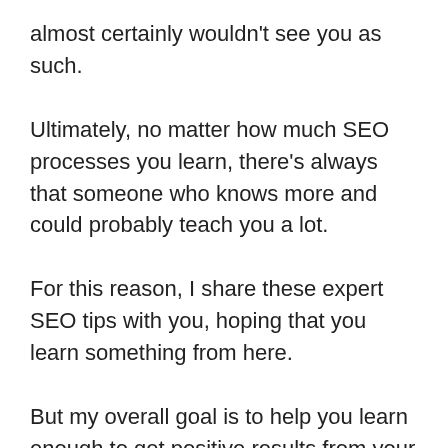almost certainly wouldn't see you as such.
Ultimately, no matter how much SEO processes you learn, there's always that someone who knows more and could probably teach you a lot.
For this reason, I share these expert SEO tips with you, hoping that you learn something from here.
But my overall goal is to help you learn enough to get positive results from your SEO processes consistently.